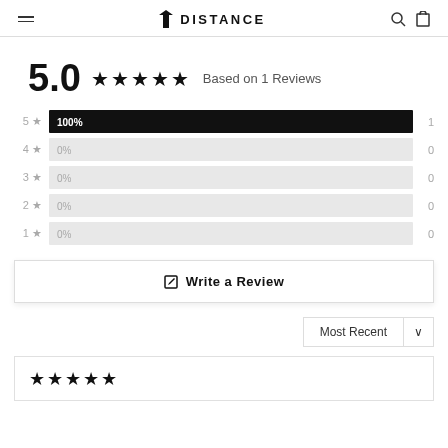DISTANCE
5.0 ★★★★★ Based on 1 Reviews
[Figure (bar-chart): Rating breakdown]
✎  Write a Review
Most Recent ∨
★★★★★